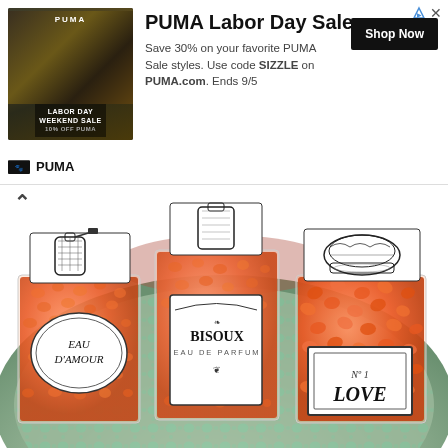[Figure (photo): PUMA advertisement banner with photo of athlete, PUMA logo, Labor Day Weekend Sale text, Shop Now button]
PUMA Labor Day Sale
Save 30% on your favorite PUMA Sale styles. Use code SIZZLE on PUMA.com. Ends 9/5
[Figure (photo): Three small candy bags filled with orange candies/jelly beans on a lace tablecloth. Left bag labeled 'EAU D'AMOUR' with perfume bottle topper, center bag labeled 'BISOUX EAU DE PARFUM' with perfume bottle topper, right bag labeled 'No 1 LOVE' with perfume compact topper.]